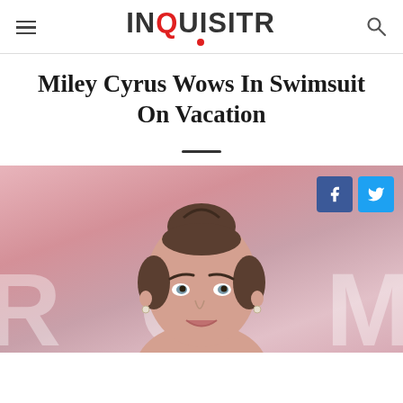INQUISITR
Miley Cyrus Wows In Swimsuit On Vacation
[Figure (photo): Close-up photo of Miley Cyrus with hair in a high bun, in front of a pink background with large ROM letters. Facebook and Twitter share buttons overlaid in top right corner.]